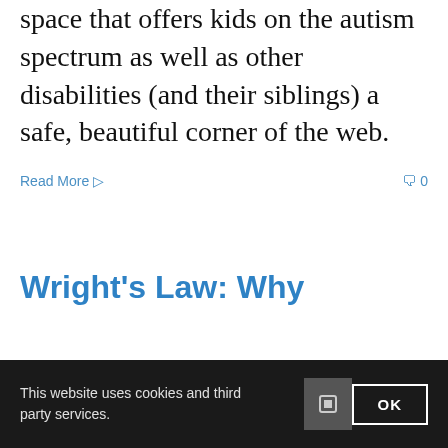space that offers kids on the autism spectrum as well as other disabilities (and their siblings) a safe, beautiful corner of the web.
Read More ▷    🗨 0
Wright's Law: Why
This website uses cookies and third party services.
OK